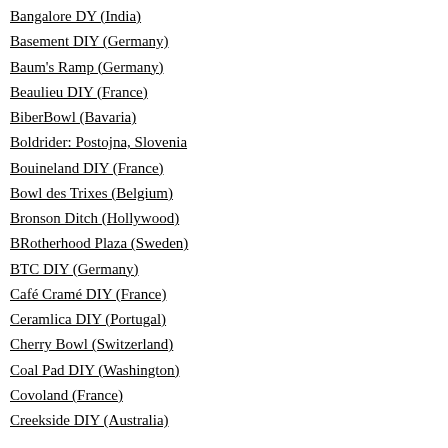Bangalore DY (India)
Basement DIY (Germany)
Baum's Ramp (Germany)
Beaulieu DIY (France)
BiberBowl (Bavaria)
Boldrider: Postojna, Slovenia
Bouineland DIY (France)
Bowl des Trixes (Belgium)
Bronson Ditch (Hollywood)
BRotherhood Plaza (Sweden)
BTC DIY (Germany)
Café Cramé DIY (France)
Ceramlica DIY (Portugal)
Cherry Bowl (Switzerland)
Coal Pad DIY (Washington)
Covoland (France)
Creekside DIY (Australia)